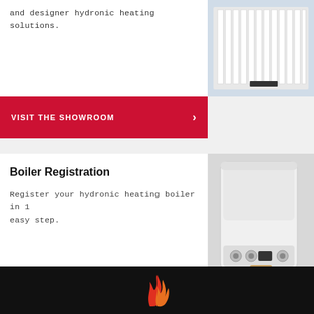and designer hydronic heating solutions.
[Figure (photo): White panel radiator on light blue wall]
VISIT THE SHOWROOM
Boiler Registration
Register your hydronic heating boiler in 1 easy step.
[Figure (photo): White wall-mounted hydronic heating boiler with controls]
COMPLETE THE FORM
[Figure (logo): Stylized flame logo in red and orange on black background]